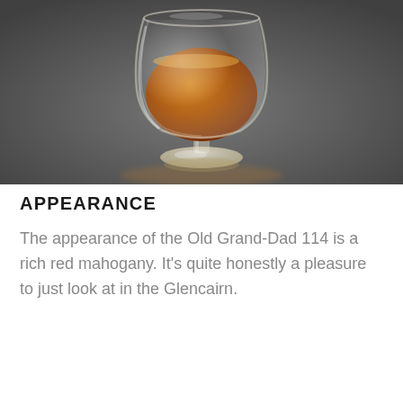[Figure (photo): A Glencairn whisky glass containing a rich red mahogany-colored bourbon whisky, photographed against a dark grey background. The glass sits on a dark surface with soft lighting highlighting the amber liquid.]
APPEARANCE
The appearance of the Old Grand-Dad 114 is a rich red mahogany. It’s quite honestly a pleasure to just look at in the Glencairn.